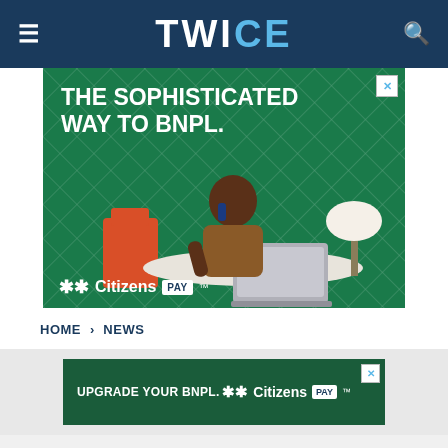TWICE
[Figure (illustration): Citizens Pay advertisement - large banner with text 'THE SOPHISTICATED WAY TO BNPL.' showing a woman on phone at desk with laptop, green background, Citizens Pay logo at bottom]
HOME › NEWS
[Figure (illustration): Citizens Pay small banner advertisement with text 'UPGRADE YOUR BNPL.' and Citizens Pay logo on dark green background]